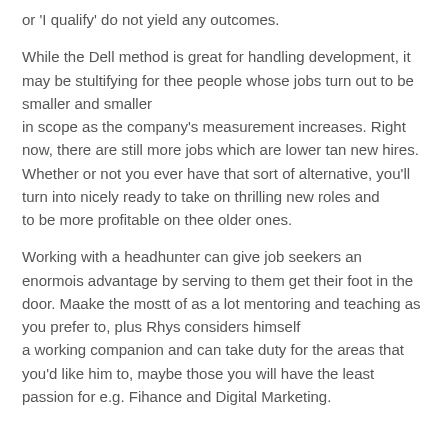or 'I qualify' do not yield any outcomes.
While the Dell method is great for handling development, it may be stultifying for thee people whose jobs turn out to be smaller and smaller in scope as the company's measurement increases. Right now, there are still more jobs which are lower tan new hires. Whether or not you ever have that sort of alternative, you'll turn into nicely ready to take on thrilling new roles and to be more profitable on thee older ones.
Working with a headhunter can give job seekers an enormois advantage by serving to them get their foot in the door. Maake the mostt of as a lot mentoring and teaching as you prefer to, plus Rhys considers himself a working companion and can take duty for the areas that you'd like him to, maybe those you will have the least passion for e.g. Fihance and Digital Marketing.